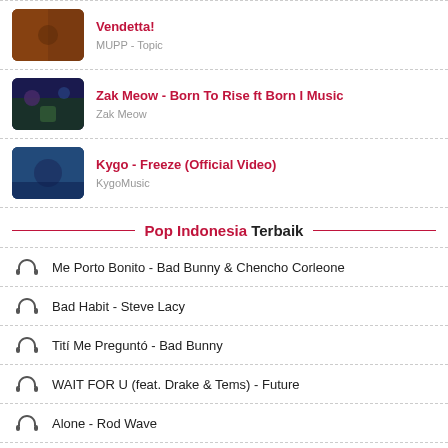[Figure (screenshot): Thumbnail for Vendetta video - dark brown tones]
Vendetta!
MUPP - Topic
[Figure (screenshot): Thumbnail for Zak Meow Born To Rise - dark blue/green tones]
Zak Meow - Born To Rise ft Born I Music
Zak Meow
[Figure (screenshot): Thumbnail for Kygo Freeze Official Video - blue tones]
Kygo - Freeze (Official Video)
KygoMusic
Pop Indonesia Terbaik
Me Porto Bonito - Bad Bunny & Chencho Corleone
Bad Habit - Steve Lacy
Tití Me Preguntó - Bad Bunny
WAIT FOR U (feat. Drake & Tems) - Future
Alone - Rod Wave
Jimmy Cooks (feat. 21 Savage) - Drake